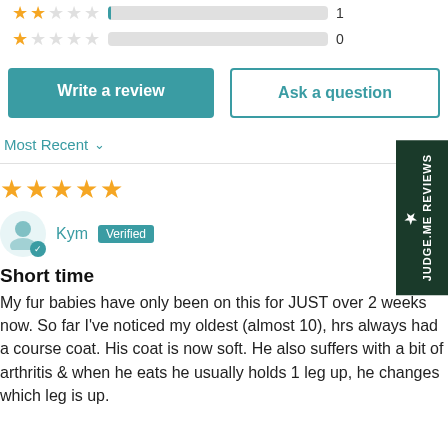[Figure (other): Star rating bars showing 2-star and 1-star counts (both 0)]
Write a review
Ask a question
Most Recent
11/07/20
[Figure (other): 5 filled gold stars rating]
Kym  Verified
Short time
My fur babies have only been on this for JUST over 2 weeks now. So far I've noticed my oldest (almost 10), hrs always had a course coat. His coat is now soft. He also suffers with a bit of arthritis & when he eats he usually holds 1 leg up, he changes which leg is up.